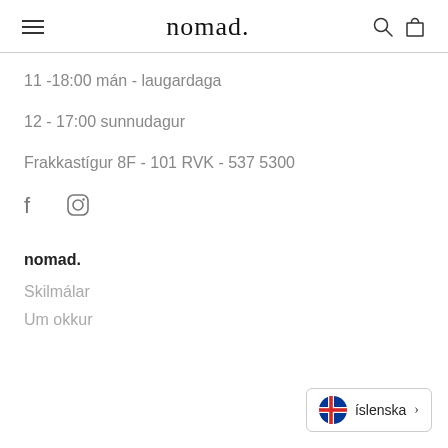nomad.
11 -18:00 mán - laugardaga
12 - 17:00 sunnudagur
Frakkastígur 8F - 101 RVK - 537 5300
[Figure (illustration): Facebook and Instagram social media icons]
nomad.
Skilmálar
Um okkur
[Figure (illustration): Language selector button showing Icelandic flag and text 'íslenska' with a right arrow]